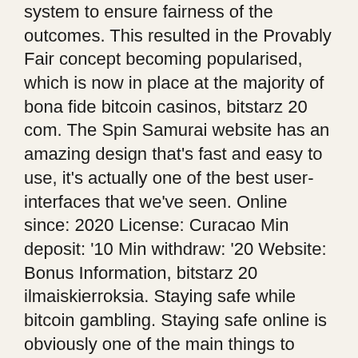system to ensure fairness of the outcomes. This resulted in the Provably Fair concept becoming popularised, which is now in place at the majority of bona fide bitcoin casinos, bitstarz 20 com. The Spin Samurai website has an amazing design that's fast and easy to use, it's actually one of the best user-interfaces that we've seen. Online since: 2020 License: Curacao Min deposit: '10 Min withdraw: '20 Website: Bonus Information, bitstarz 20 ilmaiskierroksia. Staying safe while bitcoin gambling. Staying safe online is obviously one of the main things to consider when it comes to anything related to personal or bank details, and that includes while playing at an online casino that accepts cryptocurrency, bitstarz 20 com. You will need to pick a reputable source for your cryptocurrency to enjoy better exchange rates, bitstarz 20 free spins. Hard crypto